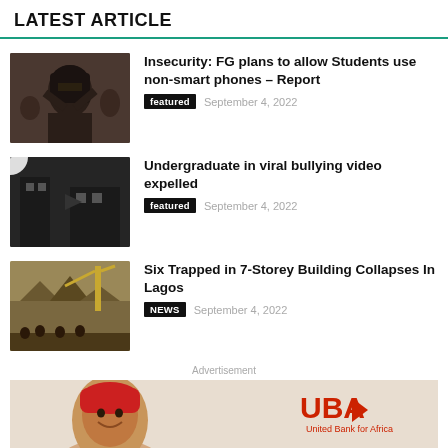LATEST ARTICLE
[Figure (photo): Person dressed in dark head covering, crowd scene]
Insecurity: FG plans to allow Students use non-smart phones – Report
featured   September 4, 2022
[Figure (photo): Video thumbnail with play button, dark scene]
Undergraduate in viral bullying video expelled
featured   September 4, 2022
[Figure (photo): Collapsed building with crane and crowd]
Six Trapped in 7-Storey Building Collapses In Lagos
NEWS   September 4, 2022
Advertisement
[Figure (photo): UBA bank advertisement banner with woman smiling and UBA United Bank for Africa logo]